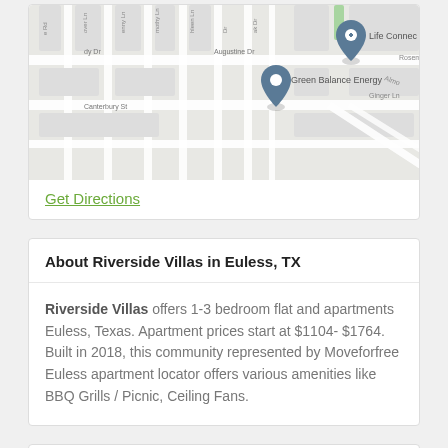[Figure (map): Street map showing location of Green Balance Energy and Life Connect in Euless, TX area with streets including Augustine Dr, Canterbury St, Ginger Ln, Rosem, Almo and other local streets.]
Get Directions
About Riverside Villas in Euless, TX
Riverside Villas offers 1-3 bedroom flat and apartments Euless, Texas. Apartment prices start at $1104- $1764. Built in 2018, this community represented by Moveforfree Euless apartment locator offers various amenities like BBQ Grills / Picnic, Ceiling Fans.
Riverside Villas Amenities